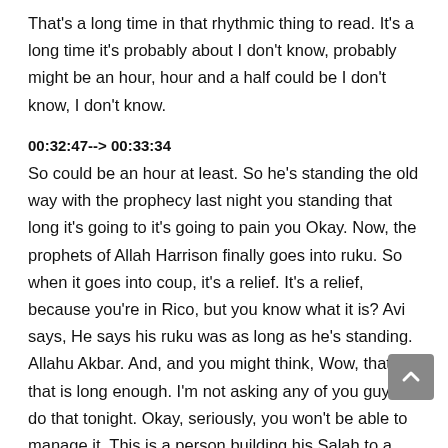That's a long time in that rhythmic thing to read. It's a long time it's probably about I don't know, probably might be an hour, hour and a half could be I don't know, I don't know.
00:32:47--> 00:33:34
So could be an hour at least. So he's standing the old way with the prophecy last night you standing that long it's going to it's going to pain you Okay. Now, the prophets of Allah Harrison finally goes into ruku. So when it goes into coup, it's a relief. It's a relief, because you're in Rico, but you know what it is? Avi says, He says his ruku was as long as he's standing. Allahu Akbar. And, and you might think, Wow, that is that is long enough. I'm not asking any of you guys to do that tonight. Okay, seriously, you won't be able to manage it. This is a person building his Salah to a wonderful, wonderful point. This is our professionalism. And he said that he's standing up for that